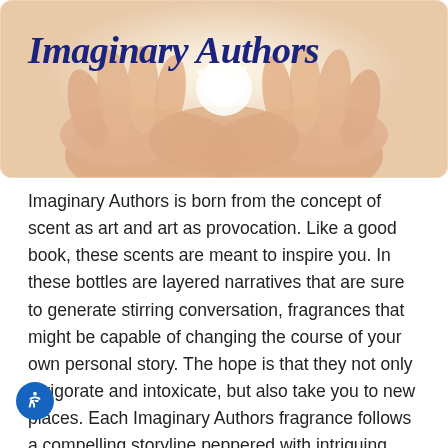[Figure (photo): Hands cupping a glowing light source against a soft beige background, used as a hero banner image for Imaginary Authors brand]
Imaginary Authors
Imaginary Authors is born from the concept of scent as art and art as provocation. Like a good book, these scents are meant to inspire you. In these bottles are layered narratives that are sure to generate stirring conversation, fragrances that might be capable of changing the course of your own personal story. The hope is that they not only invigorate and intoxicate, but also take you to new places. Each Imaginary Authors fragrance follows a compelling storyline peppered with intriguing twists. These are scents to curl up with, to share with friends, to take with you wherever you go, and to return to again and again for a uniquely transcendent experience.